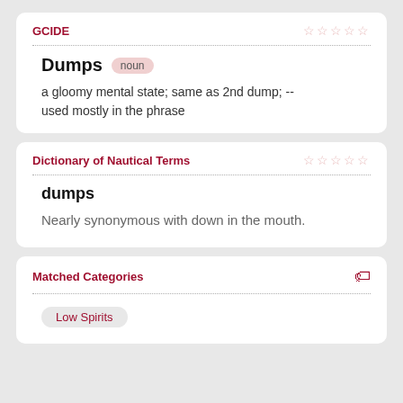GCIDE
Dumps
noun
a gloomy mental state; same as 2nd dump; -- used mostly in the phrase
Dictionary of Nautical Terms
dumps
Nearly synonymous with down in the mouth.
Matched Categories
Low Spirits